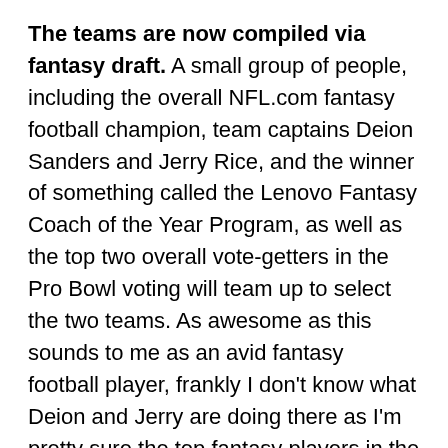The teams are now compiled via fantasy draft. A small group of people, including the overall NFL.com fantasy football champion, team captains Deion Sanders and Jerry Rice, and the winner of something called the Lenovo Fantasy Coach of the Year Program, as well as the top two overall vote-getters in the Pro Bowl voting will team up to select the two teams. As awesome as this sounds to me as an avid fantasy football player, frankly I don't know what Deion and Jerry are doing there as I'm pretty sure the top fantasy players in the country know how to draft a football team by themselves without any help. This is basically just a huge IDP draft with offensive linemen thrown in there as well. I look forward to the Pro Bowl featuring Fat Mike from Hoboken vs. Dave the Accountant. Go Dave! Also, if Deion does not wear the Leon